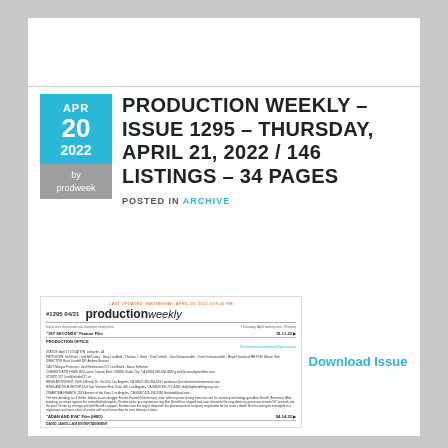PRODUCTION WEEKLY – ISSUE 1295 – THURSDAY, APRIL 21, 2022 / 146 LISTINGS – 34 PAGES
POSTED IN ARCHIVE
[Figure (screenshot): Preview thumbnail of Production Weekly issue #1295 dated 04/21, showing the productionweekly logo, listing entries including '1ST SECONDS' Feature Film and 'ADAM AND EVA' Film listings with production details]
Download Issue